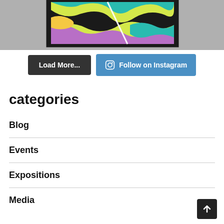[Figure (photo): Colorful abstract artwork with swirling black, teal, yellow, purple, and green patterns displayed on a gray surface. A white diagonal line or crack crosses the artwork.]
Load More...
Follow on Instagram
categories
Blog
Events
Expositions
Media